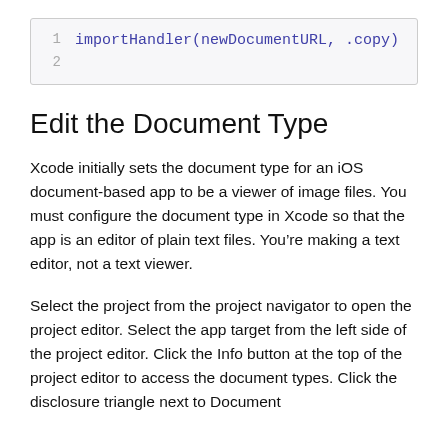[Figure (screenshot): Code block showing: 1  importHandler(newDocumentURL, .copy) with line number 2 below]
Edit the Document Type
Xcode initially sets the document type for an iOS document-based app to be a viewer of image files. You must configure the document type in Xcode so that the app is an editor of plain text files. You’re making a text editor, not a text viewer.
Select the project from the project navigator to open the project editor. Select the app target from the left side of the project editor. Click the Info button at the top of the project editor to access the document types. Click the disclosure triangle next to Document